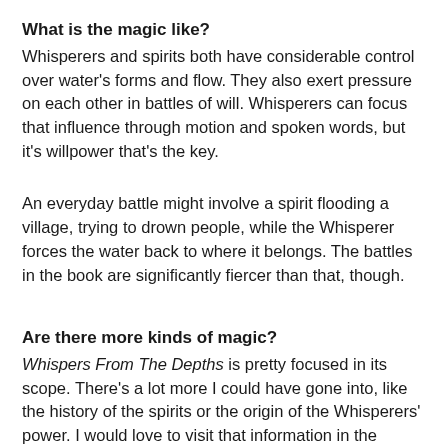What is the magic like?
Whisperers and spirits both have considerable control over water's forms and flow. They also exert pressure on each other in battles of will. Whisperers can focus that influence through motion and spoken words, but it's willpower that's the key.
An everyday battle might involve a spirit flooding a village, trying to drown people, while the Whisperer forces the water back to where it belongs. The battles in the book are significantly fiercer than that, though.
Are there more kinds of magic?
Whispers From The Depths is pretty focused in its scope. There's a lot more I could have gone into, like the history of the spirits or the origin of the Whisperers' power. I would love to visit that information in the future. For now, the world is zoomed in on Betka and her grandfather. It's a story about humans in a world with magic, rather than a story about magic and humans.